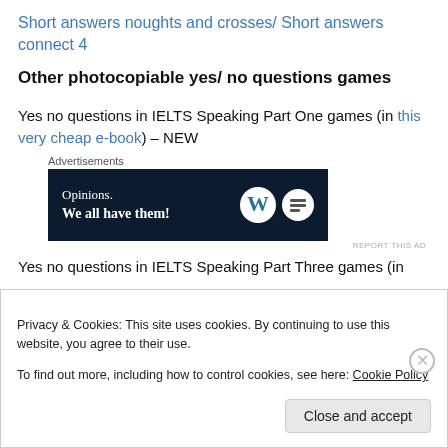Short answers noughts and crosses/ Short answers connect 4
Other photocopiable yes/ no questions games
Yes no questions in IELTS Speaking Part One games (in this very cheap e-book) – NEW
[Figure (other): Advertisement banner: dark navy background with text 'Opinions. We all have them!' and WordPress/WP logos on right side.]
Yes no questions in IELTS Speaking Part Three games (in
Privacy & Cookies: This site uses cookies. By continuing to use this website, you agree to their use.
To find out more, including how to control cookies, see here: Cookie Policy